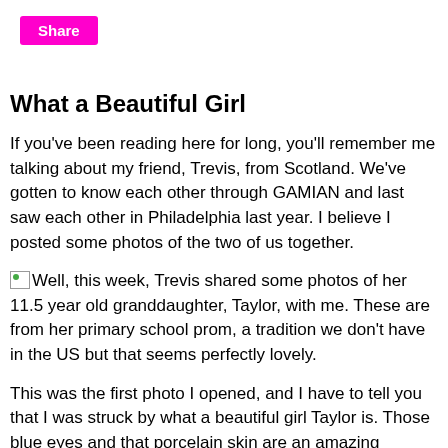[Figure (other): Share button - magenta/pink rectangular button with white text 'Share']
What a Beautiful Girl
If you've been reading here for long, you'll remember me talking about my friend, Trevis, from Scotland. We've gotten to know each other through GAMIAN and last saw each other in Philadelphia last year. I believe I posted some photos of the two of us together.
Well, this week, Trevis shared some photos of her 11.5 year old granddaughter, Taylor, with me. These are from her primary school prom, a tradition we don't have in the US but that seems perfectly lovely.
This was the first photo I opened, and I have to tell you that I was struck by what a beautiful girl Taylor is. Those blue eyes and that porcelain skin are an amazing combination. Absolutely lovely.